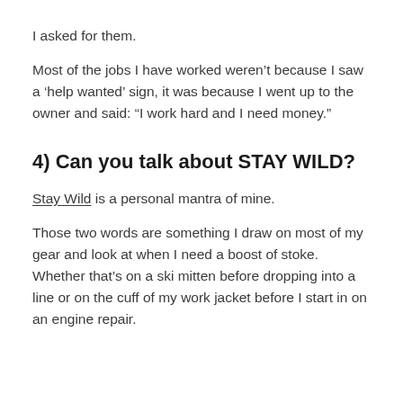I asked for them.
Most of the jobs I have worked weren’t because I saw a ‘help wanted’ sign, it was because I went up to the owner and said: “I work hard and I need money.”
4) Can you talk about STAY WILD?
Stay Wild is a personal mantra of mine.
Those two words are something I draw on most of my gear and look at when I need a boost of stoke. Whether that’s on a ski mitten before dropping into a line or on the cuff of my work jacket before I start in on an engine repair.